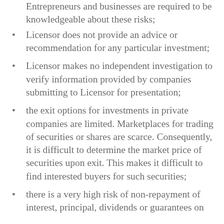Entrepreneurs and businesses are required to be knowledgeable about these risks;
Licensor does not provide an advice or recommendation for any particular investment;
Licensor makes no independent investigation to verify information provided by companies submitting to Licensor for presentation;
the exit options for investments in private companies are limited. Marketplaces for trading of securities or shares are scarce. Consequently, it is difficult to determine the market price of securities upon exit. This makes it difficult to find interested buyers for such securities;
there is a very high risk of non-repayment of interest, principal, dividends or guarantees on